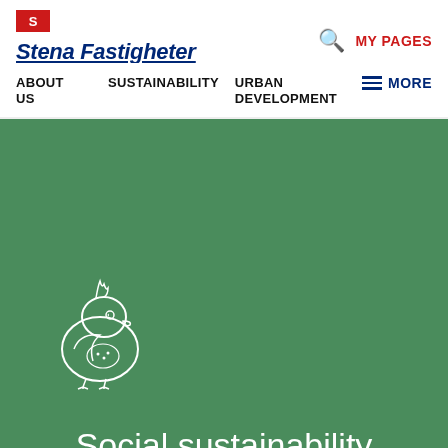[Figure (logo): Stena Fastigheter logo with red S icon and blue italic underlined text]
MY PAGES
ABOUT US   SUSTAINABILITY   URBAN DEVELOPMENT   MORE
[Figure (illustration): White outline drawing of a cartoon bird/chick on green background]
Social sustainability
We see long term relationships as the basis for a sustainable society. We want the children and